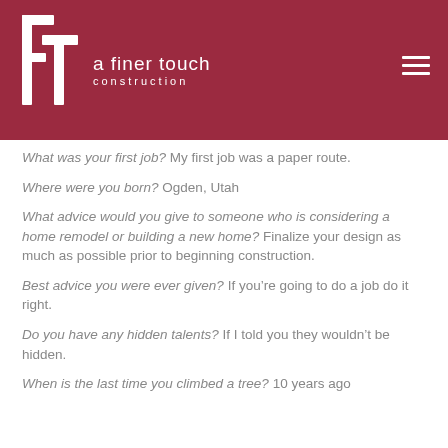a finer touch construction
What was your first job? My first job was a paper route.
Where were you born? Ogden, Utah
What advice would you give to someone who is considering a home remodel or building a new home? Finalize your design as much as possible prior to beginning construction.
Best advice you were ever given? If you’re going to do a job do it right.
Do you have any hidden talents? If I told you they wouldn’t be hidden.
When is the last time you climbed a tree? 10 years ago